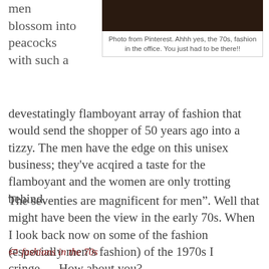men blossom into peacocks with such a
[Figure (photo): Dark photo of people in 1970s office fashion, sourced from Pinterest]
Photo from Pinterest. Ahhh yes, the 70s, fashion in the office. You just had to be there!!
devestatingly flamboyant array of fashion that would send the shopper of 50 years ago into a tizzy. The men have the edge on this unisex business; they've acqired a taste for the flamboyant and the women are only trotting behind.
The seventies are magnificent for men”. Well that might have been the view in the early 70s. When I look back now on some of the fashion (especially men’s fashion) of the 1970s I cringe…..How about you?
fashions in the 70s